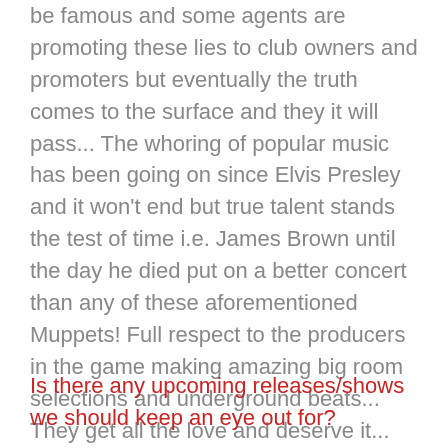be famous and some agents are promoting these lies to club owners and promoters but eventually the truth comes to the surface and they it will pass... The whoring of popular music has been going on since Elvis Presley and it won't end but true talent stands the test of time i.e. James Brown until the day he died put on a better concert than any of these aforementioned Muppets! Full respect to the producers in the game making amazing big room selections and underground beats... They get all the love and deserve it... but I'm confident they would agree with me that some artist/actors are not legit... Can a fake mc win a rhyme battle lol? Never in a billion years.... As they said back in the day.... You can't fake the funk!
Is there any upcoming releases/shows we should keep an eye out for?